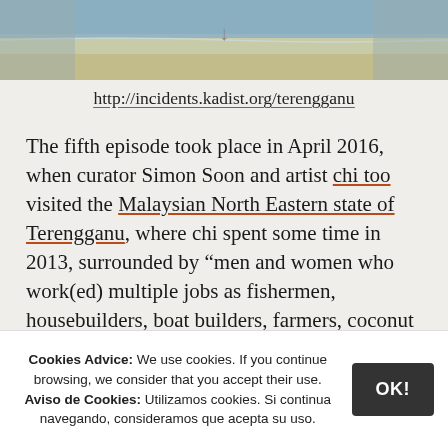[Figure (photo): Beach scene with ocean water and sandy shore, partial view with arrow indicator]
http://incidents.kadist.org/terengganu
The fifth episode took place in April 2016, when curator Simon Soon and artist chi too visited the Malaysian North Eastern state of Terengganu, where chi spent some time in 2013, surrounded by “men and women who work(ed) multiple jobs as fishermen, housebuilders, boat builders, farmers, coconut pickers, food producers, and everything else that matters.”
Cookies Advice: We use cookies. If you continue browsing, we consider that you accept their use. Aviso de Cookies: Utilizamos cookies. Si continua navegando, consideramos que acepta su uso.